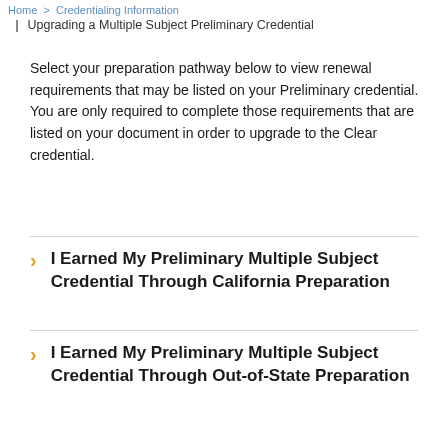Home > Credentialing Information
Upgrading a Multiple Subject Preliminary Credential
Select your preparation pathway below to view renewal requirements that may be listed on your Preliminary credential. You are only required to complete those requirements that are listed on your document in order to upgrade to the Clear credential.
I Earned My Preliminary Multiple Subject Credential Through California Preparation
I Earned My Preliminary Multiple Subject Credential Through Out-of-State Preparation